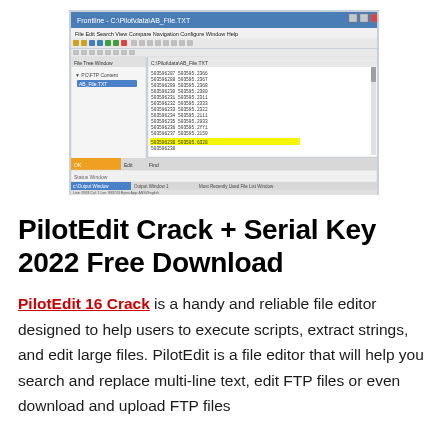[Figure (screenshot): Screenshot of PilotEdit software showing a text editor window with file contents listing IP address-like data entries, with one row highlighted in yellow.]
PilotEdit Crack + Serial Key 2022 Free Download
PilotEdit 16 Crack is a handy and reliable file editor designed to help users to execute scripts, extract strings, and edit large files. PilotEdit is a file editor that will help you search and replace multi-line text, edit FTP files or even download and upload FTP files